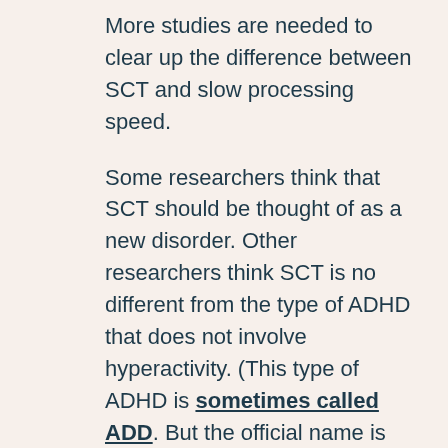More studies are needed to clear up the difference between SCT and slow processing speed.
Some researchers think that SCT should be thought of as a new disorder. Other researchers think SCT is no different from the type of ADHD that does not involve hyperactivity. (This type of ADHD is sometimes called ADD. But the official name is ADHD, Predominantly Inattentive Presentation.)
But on a practical level, here are